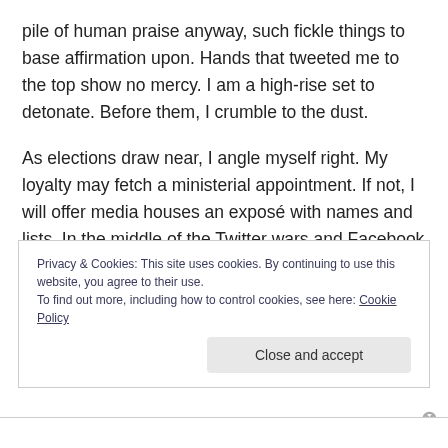pile of human praise anyway, such fickle things to base affirmation upon. Hands that tweeted me to the top show no mercy. I am a high-rise set to detonate. Before them, I crumble to the dust.
As elections draw near, I angle myself right. My loyalty may fetch a ministerial appointment. If not, I will offer media houses an exposé with names and lists. In the middle of the Twitter wars and Facebook debates, I will metamorphose into my old skin, a social crusader, a voice for all who forgive and forget.
Privacy & Cookies: This site uses cookies. By continuing to use this website, you agree to their use.
To find out more, including how to control cookies, see here: Cookie Policy